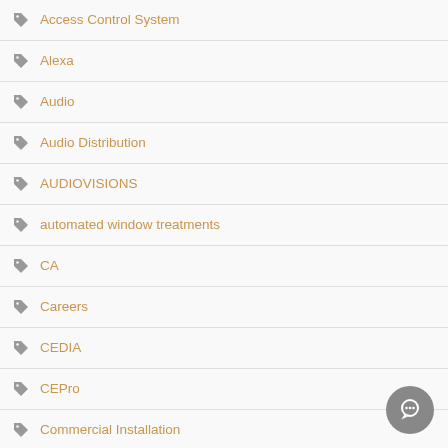Access Control System
Alexa
Audio
Audio Distribution
AUDIOVISIONS
automated window treatments
CA
Careers
CEDIA
CEPro
Commercial Installation
Control4
Control4 Smart Home
Crestron
Custom Home Theater